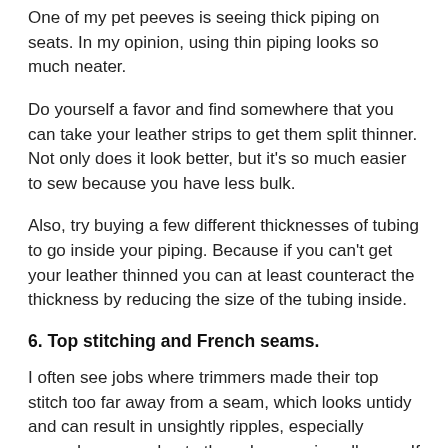One of my pet peeves is seeing thick piping on seats. In my opinion, using thin piping looks so much neater.
Do yourself a favor and find somewhere that you can take your leather strips to get them split thinner. Not only does it look better, but it's so much easier to sew because you have less bulk.
Also, try buying a few different thicknesses of tubing to go inside your piping. Because if you can't get your leather thinned you can at least counteract the thickness by reducing the size of the tubing inside.
6. Top stitching and French seams.
I often see jobs where trimmers made their top stitch too far away from a seam, which looks untidy and can result in unsightly ripples, especially around corners, due to the selvage going all wavy. If you stay close to the seam, you can trim close to the top stitch and get rid of the...